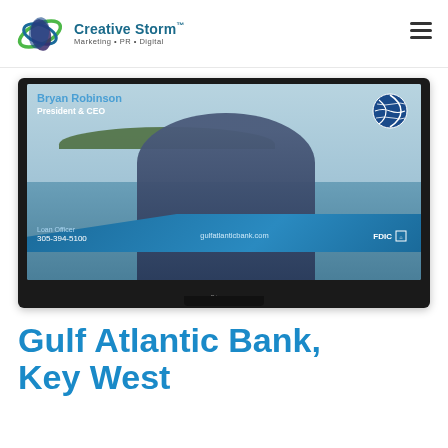Creative Storm™ Marketing • PR • Digital
[Figure (screenshot): A TV screen showing Bryan Robinson, President & CEO of Gulf Atlantic Bank, seated outdoors near water with islands in background. Lower-third overlay shows 'Loan Officer 305-394-5100' on the left, 'gulfatlanticbank.com' in the center, and 'FDIC' logo on the right. A globe logo appears in the top-right corner of the screen. The TV is a Pioneer brand flat screen.]
Gulf Atlantic Bank, Key West